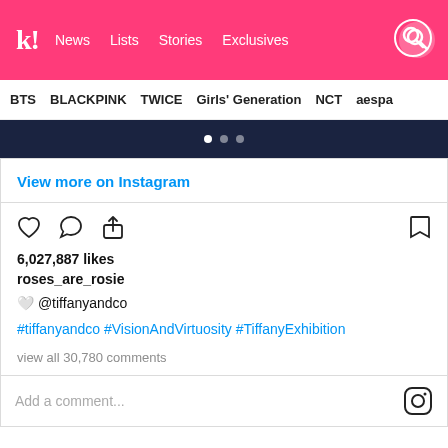k! News  Lists  Stories  Exclusives
BTS  BLACKPINK  TWICE  Girls' Generation  NCT  aespa
[Figure (photo): Dark navy/blue image strip with carousel dots showing three white dots (first active)]
View more on Instagram
[Figure (infographic): Instagram action icons: heart, comment bubble, share arrow (left side); bookmark icon (right side)]
6,027,887 likes
roses_are_rosie
🤍 @tiffanyandco
#tiffanyandco #VisionAndVirtuosity #TiffanyExhibition
view all 30,780 comments
Add a comment...